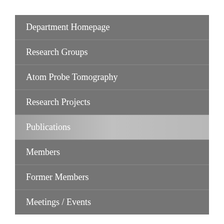Department Homepage
Research Groups
Atom Probe Tomography
Research Projects
Publications
Members
Former Members
Meetings / Events